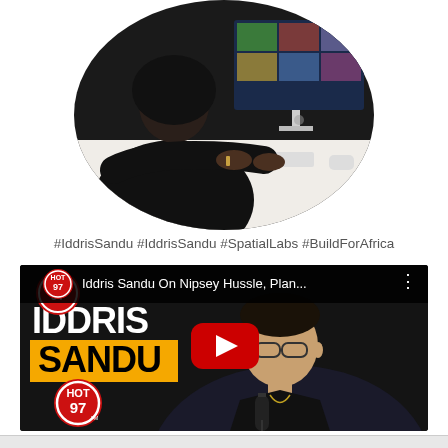[Figure (photo): Circular cropped photo of a person sitting at a desk working on an iMac computer in a dark room]
#IddrisSandu #IddrisSandu #SpatialLabs #BuildForAfrica
[Figure (screenshot): YouTube video thumbnail from HOT 97 channel showing Iddris Sandu On Nipsey Hussle, Plan... with large text IDDRIS SANDU on a dark background with a yellow banner, YouTube play button in center, HOT 97 logo bottom left]